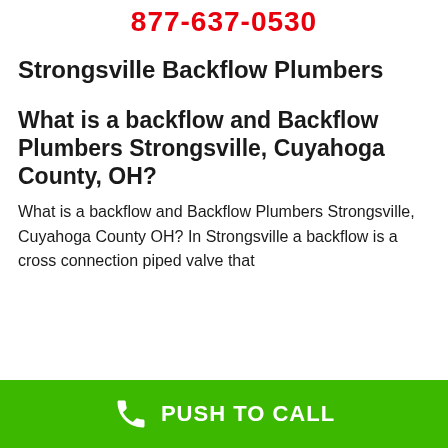877-637-0530
Strongsville Backflow Plumbers
What is a backflow and Backflow Plumbers Strongsville, Cuyahoga County, OH?
What is a backflow and Backflow Plumbers Strongsville, Cuyahoga County OH? In Strongsville a backflow is a cross connection piped valve that
PUSH TO CALL